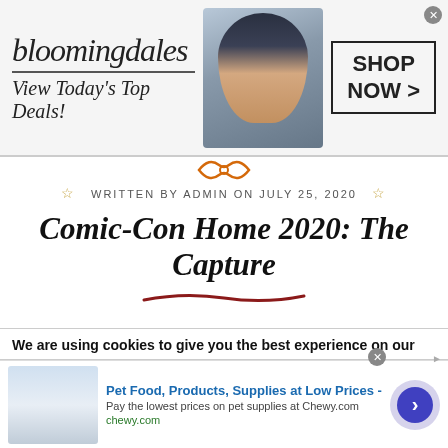[Figure (screenshot): Bloomingdales advertisement banner with logo, 'View Today's Top Deals!', model photo, and 'SHOP NOW >' button]
[Figure (illustration): Orange bow/ribbon decoration below top ad banner]
WRITTEN BY ADMIN ON JULY 25, 2020
Comic-Con Home 2020: The Capture
As announced via our Twitter, Holliday and the cast/ crew of The Capture participated on Comic Con at Home 2020 and had a very nice chat for a little more than 30 minutes via
We are using cookies to give you the best experience on our
[Figure (screenshot): Chewy.com advertisement: 'Pet Food, Products, Supplies at Low Prices - Pay the lowest prices on pet supplies at Chewy.com' with arrow button]